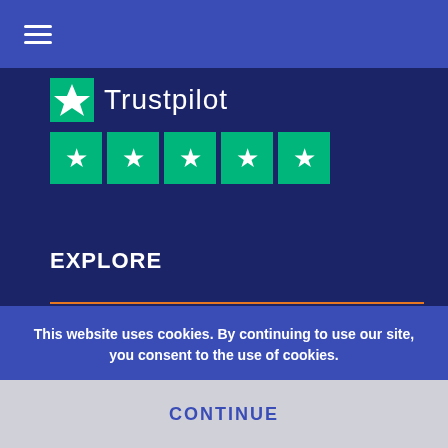Navigation menu (hamburger icon)
[Figure (logo): Trustpilot logo with green star icon and five green star rating boxes]
EXPLORE
Convertible Roof Repairs
Water Ingress Repairs
Roof Cleaning Service
This website uses cookies. By continuing to use our site, you consent to the use of cookies.
CONTINUE